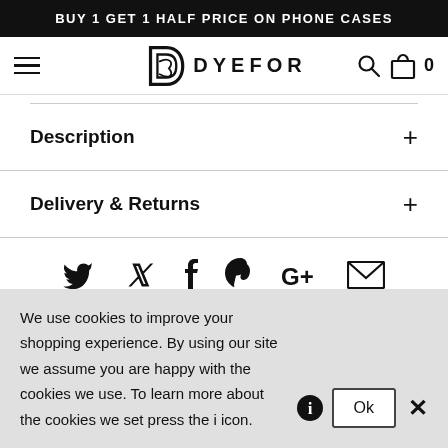BUY 1 GET 1 HALF PRICE ON PHONE CASES
[Figure (logo): Dyefor logo with stylized D icon and DYEFOR wordmark, plus navigation icons (hamburger menu, search, shopping bag, cart count 0)]
Description
Delivery & Returns
[Figure (infographic): Social media sharing icons row: Twitter bird, Facebook f, Pinterest P, Google+, and envelope/email icon]
We use cookies to improve your shopping experience. By using our site we assume you are happy with the cookies we use. To learn more about the cookies we set press the i icon.